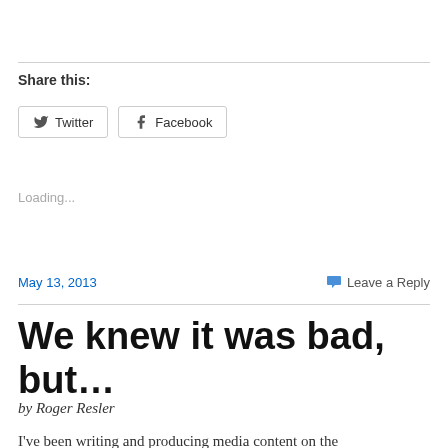Share this:
[Figure (other): Twitter and Facebook share buttons]
Loading...
May 13, 2013
Leave a Reply
We knew it was bad, but...
by Roger Resler
I've been writing and producing media content on the